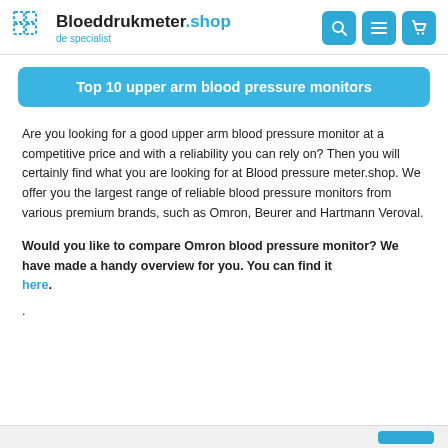Bloeddrukmeter.shop de specialist
Top 10 upper arm blood pressure monitors
Are you looking for a good upper arm blood pressure monitor at a competitive price and with a reliability you can rely on? Then you will certainly find what you are looking for at Blood pressure meter.shop. We offer you the largest range of reliable blood pressure monitors from various premium brands, such as Omron, Beurer and Hartmann Veroval.
Would you like to compare Omron blood pressure monitor? We have made a handy overview for you. You can find it here.
.